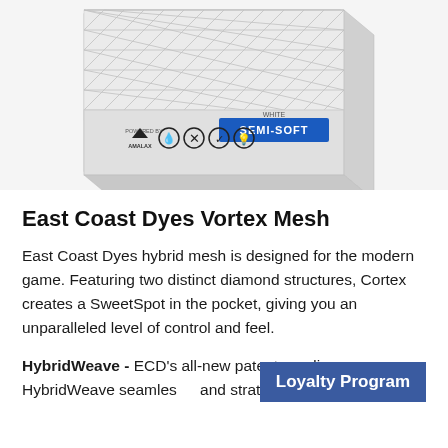[Figure (photo): Product photo of East Coast Dyes Vortex Mesh lacrosse mesh packaging. White box with diamond/mesh texture on top, a blue 'SEMI-SOFT' label, 'WHITE' text, powered by Amalax logo, and several feature icons.]
East Coast Dyes Vortex Mesh
East Coast Dyes hybrid mesh is designed for the modern game. Featuring two distinct diamond structures, Cortex creates a SweetSpot in the pocket, giving you an unparalleled level of control and feel.
HybridWeave - ECD's all-new patent pending HybridWeave seamlessly and strategically incorporates
Loyalty Program